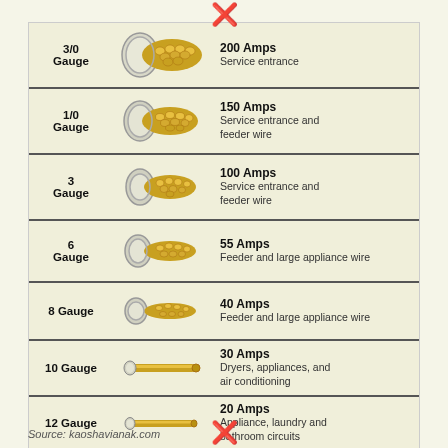[Figure (infographic): Wire gauge reference chart showing 8 wire gauges (3/0, 1/0, 3, 6, 8, 10, 12, 14) with illustrated cross-sections and corresponding amperage ratings and applications.]
Source: kaoshavianak.com